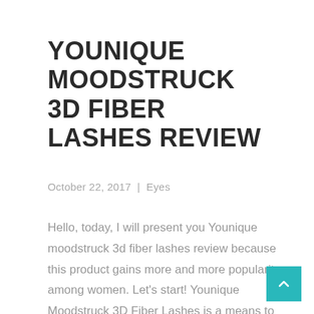YOUNIQUE MOODSTRUCK 3D FIBER LASHES REVIEW
October 22, 2017  |  Eyes
Hello, today, I will present you Younique moodstruck 3d fiber lashes review because this product gains more and more popularity among women. Let’s start! Younique Moodstruck 3D Fiber Lashes is a means to make your lashes look natural – increasing them in volume up to 400...